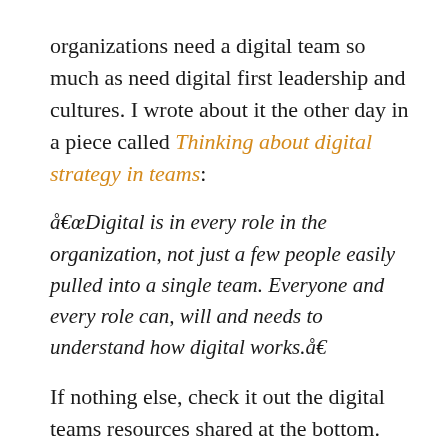organizations need a digital team so much as need digital first leadership and cultures. I wrote about it the other day in a piece called Thinking about digital strategy in teams:
â€œDigital is in every role in the organization, not just a few people easily pulled into a single team. Everyone and every role can, will and needs to understand how digital works.â€
If nothing else, check it out the digital teams resources shared at the bottom. Other